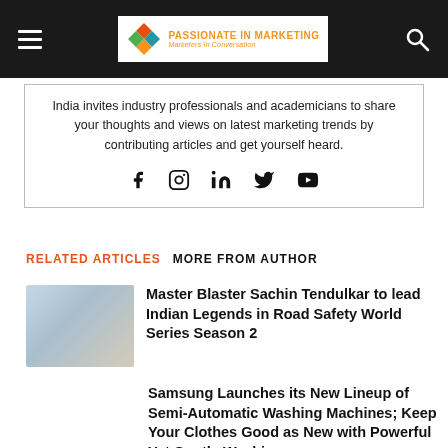Passionate in Marketing — Marketers in Conversation
India invites industry professionals and academicians to share your thoughts and views on latest marketing trends by contributing articles and get yourself heard.
[Figure (infographic): Social media icons: Facebook, Instagram, LinkedIn, Twitter, YouTube]
RELATED ARTICLES   MORE FROM AUTHOR
Master Blaster Sachin Tendulkar to lead Indian Legends in Road Safety World Series Season 2
Samsung Launches its New Lineup of Semi-Automatic Washing Machines; Keep Your Clothes Good as New with Powerful Yet Gentle Washing